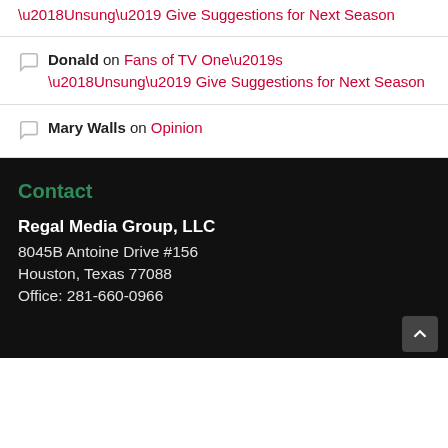Fans of TV One’s ‘Unsung’ Give Suggestions for Next Season
Donald on Fans of TV One’s ‘Unsung’ Give Suggestions for Next Season
Mary Walls on Opinion
Contact
Regal Media Group, LLC
8045B Antoine Drive #156
Houston, Texas 77088
Office: 281-660-0966